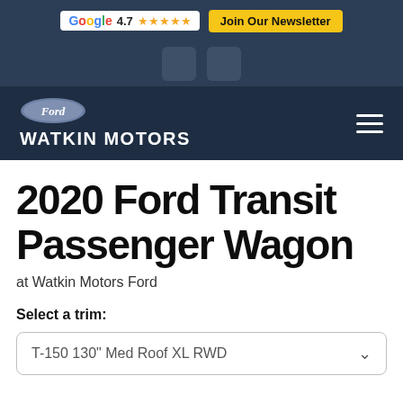G 4.7 ★★★★★  Join Our Newsletter
[Figure (logo): Ford oval logo and Watkin Motors dealership navigation bar with hamburger menu]
2020 Ford Transit Passenger Wagon
at Watkin Motors Ford
Select a trim:
T-150 130" Med Roof XL RWD